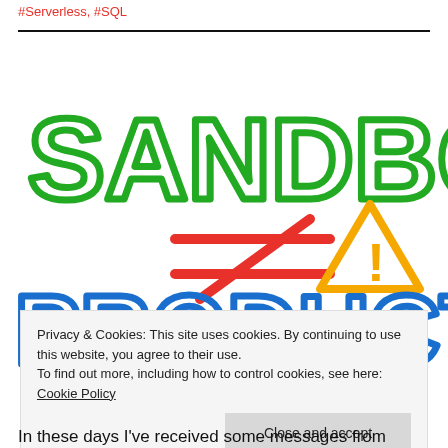#Serverless, #SQL
[Figure (illustration): Hand-drawn sketch: 'SANDBOX' in large green crayon letters, a red 'not equal' sign (≠) in the middle, a yellow warning triangle with exclamation mark, and 'PRODUCTION' in large blue crayon letters below.]
Privacy & Cookies: This site uses cookies. By continuing to use this website, you agree to their use.
To find out more, including how to control cookies, see here: Cookie Policy
Close and accept
In these days I've received some messages from